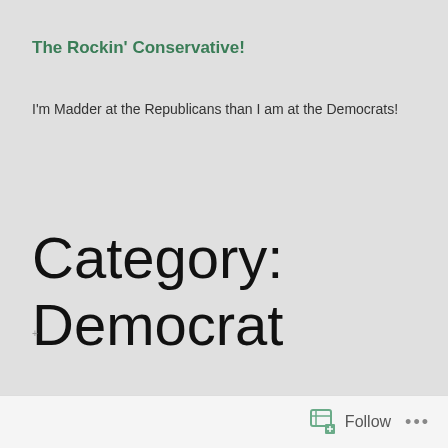The Rockin' Conservative!
I'm Madder at the Republicans than I am at the Democrats!
Category: Democrat
Follow ...